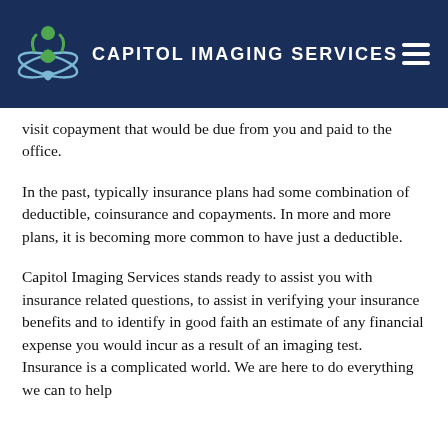CAPITOL IMAGING SERVICES
visit copayment that would be due from you and paid to the office.
In the past, typically insurance plans had some combination of deductible, coinsurance and copayments. In more and more plans, it is becoming more common to have just a deductible.
Capitol Imaging Services stands ready to assist you with insurance related questions, to assist in verifying your insurance benefits and to identify in good faith an estimate of any financial expense you would incur as a result of an imaging test. Insurance is a complicated world. We are here to do everything we can to help